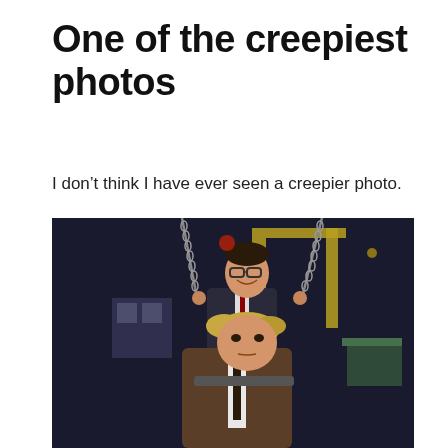One of the creepiest photos
I don’t think I have ever seen a creepier photo.
[Figure (photo): Two men in suits on playground swings at night. The man in the foreground has disheveled blond hair and wears a brown jacket with a dark tie. Behind him stands a taller man in a dark suit with glasses and a red tie, smiling. Industrial/fairground structures visible in the background at night.]